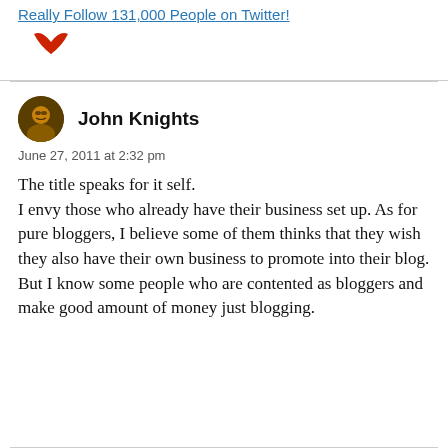Really Follow 131,000 People on Twitter!
[Figure (illustration): Red stylized bird/wings icon]
John Knights
June 27, 2011 at 2:32 pm
The title speaks for it self.
I envy those who already have their business set up. As for pure bloggers, I believe some of them thinks that they wish they also have their own business to promote into their blog.
But I know some people who are contented as bloggers and make good amount of money just blogging.